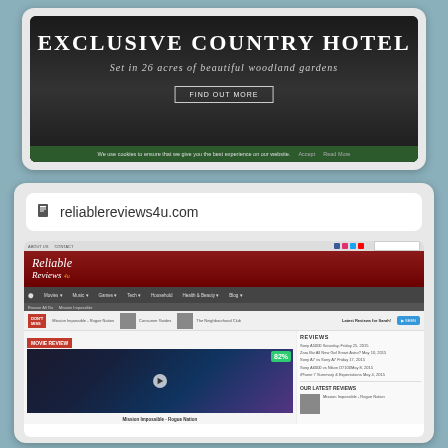[Figure (screenshot): Screenshot of an Exclusive Country Hotel website with dark background, large title text, subtitle about 26 acres of woodland gardens, a Find Out More button, and a green cookie consent bar at the bottom]
reliablereviews4u.com
[Figure (screenshot): Screenshot of reliablereviews4u.com website showing a movie review page for Mission Impossible - Rogue Nation with a 82% score badge, movie thumbnail with play button, right sidebar with review items and latest reviews section]